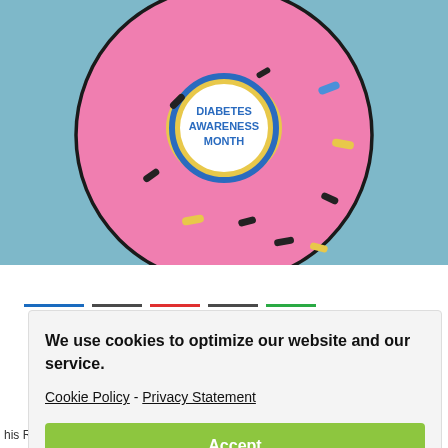[Figure (illustration): Illustration of a pink donut with colorful sprinkles on a light blue background. The center hole of the donut has a white circle bordered in blue with yellow wavy frosting around it, containing blue text reading 'DIABETES AWARENESS MONTH'.]
We use cookies to optimize our website and our service.
Cookie Policy - Privacy Statement
Accept
his Republican opponents calling them "crazy" for